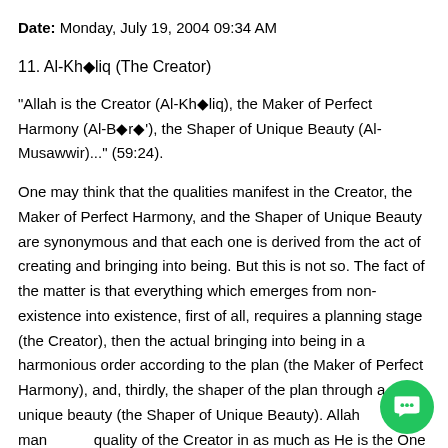Date: Monday, July 19, 2004 09:34 AM
11. Al-Kh◆liq (The Creator)
"Allah is the Creator (Al-Kh◆liq), the Maker of Perfect Harmony (Al-B◆r◆'), the Shaper of Unique Beauty (Al-Musawwir)..." (59:24).
One may think that the qualities manifest in the Creator, the Maker of Perfect Harmony, and the Shaper of Unique Beauty are synonymous and that each one is derived from the act of creating and bringing into being. But this is not so. The fact of the matter is that everything which emerges from non-existence into existence, first of all, requires a planning stage (the Creator), then the actual bringing into being in a harmonious order according to the plan (the Maker of Perfect Harmony), and, thirdly, the shaper of the plan through a unique beauty (the Shaper of Unique Beauty). Allah man... quality of the Creator in as much as He is the One who plans and d...es- -from nothing--without any model. He establishes and defines the states of